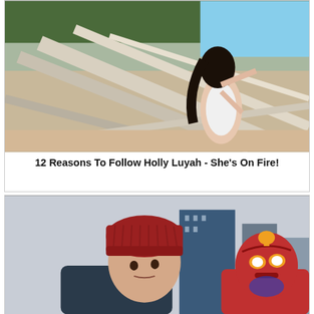[Figure (photo): Woman in white swimsuit posing on driftwood logs at a beach, with trees in background]
12 Reasons To Follow Holly Luyah - She's On Fire!
[Figure (photo): Young man in red beanie hat on left, person in red superhero mask/costume on right, city buildings in background]